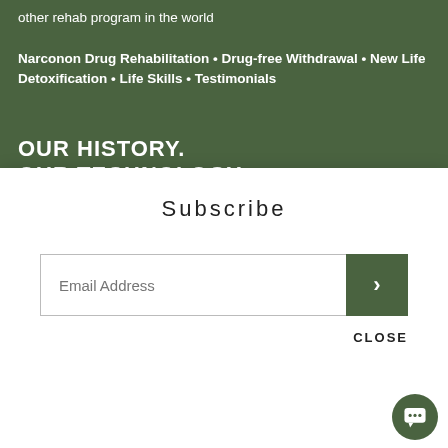other rehab program in the world
Narconon Drug Rehabilitation • Drug-free Withdrawal • New Life Detoxification • Life Skills • Testimonials
OUR HISTORY. OUR TECHNOLOGY.
Subscribe
[Figure (other): Email address input field with green submit arrow button]
CLOSE
For counselors, drug rehabilitation professionals and concerned family members
More Information • Program Information Portfolio • Re... More Info • Contact Narconon • Drug Education • News... Service Messages